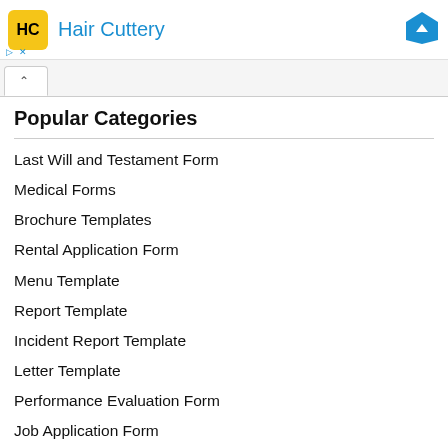[Figure (screenshot): Hair Cuttery advertisement banner with yellow logo, brand name in blue, and blue navigation diamond icon]
Popular Categories
Last Will and Testament Form
Medical Forms
Brochure Templates
Rental Application Form
Menu Template
Report Template
Incident Report Template
Letter Template
Performance Evaluation Form
Job Application Form
Petition Template
Inventory Template
Newspaper Template